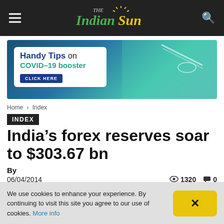The Indian Sun
[Figure (illustration): Advertisement banner: Handy Tips on COVID-19 booster – CLICK HERE, with syringe image and medical professional on teal background]
Home › Index
INDEX
India's forex reserves soar to $303.67 bn
By
06/04/2014   👁 1320   💬 0
We use cookies to enhance your experience. By continuing to visit this site you agree to our use of cookies. More info